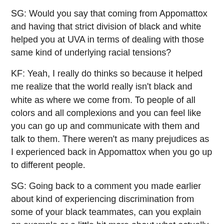SG: Would you say that coming from Appomattox and having that strict division of black and white helped you at UVA in terms of dealing with those same kind of underlying racial tensions?
KF: Yeah, I really do thinks so because it helped me realize that the world really isn't black and white as where we come from. To people of all colors and all complexions and you can feel like you can go up and communicate with them and talk to them. There weren't as many prejudices as I experienced back in Appomattox when you go up to different people.
SG: Going back to a comment you made earlier about kind of experiencing discrimination from some of your black teammates, can you explain an example or a little bit more about what actually happened?